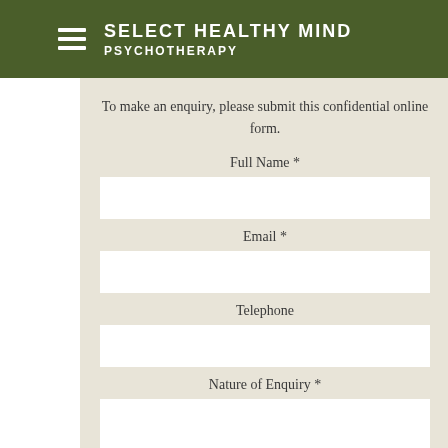SELECT HEALTHY MIND PSYCHOTHERAPY
To make an enquiry, please submit this confidential online form.
Full Name *
Email *
Telephone
Nature of Enquiry *